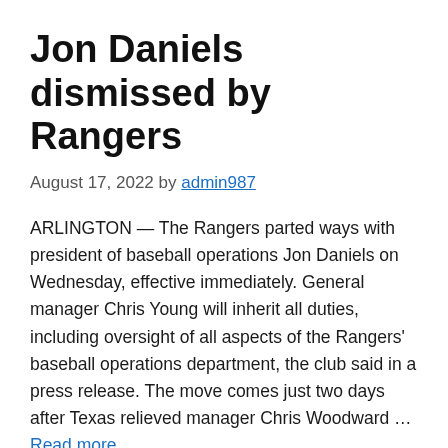Jon Daniels dismissed by Rangers
August 17, 2022 by admin987
ARLINGTON — The Rangers parted ways with president of baseball operations Jon Daniels on Wednesday, effective immediately. General manager Chris Young will inherit all duties, including oversight of all aspects of the Rangers' baseball operations department, the club said in a press release. The move comes just two days after Texas relieved manager Chris Woodward … Read more